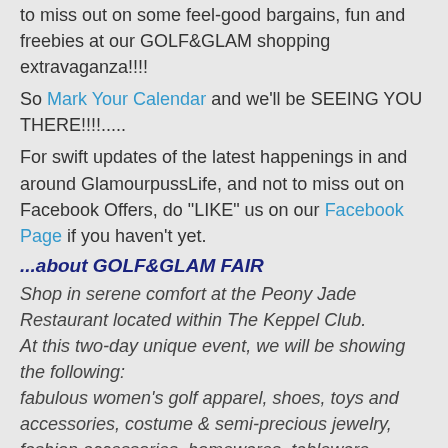to miss out on some feel-good bargains, fun and freebies at our GOLF&GLAM shopping extravaganza!!!!
So Mark Your Calendar and we'll be SEEING YOU THERE!!!!.....
For swift updates of the latest happenings in and around GlamourpussLife, and not to miss out on Facebook Offers, do "LIKE" us on our Facebook Page if you haven't yet.
...about GOLF&GLAM FAIR
Shop in serene comfort at the Peony Jade Restaurant located within The Keppel Club. At this two-day unique event, we will be showing the following: fabulous women's golf apparel, shoes, toys and accessories, costume & semi-precious jewelry, fashion accessories, homewares, tableware, ornaments, decor, gardening tools, many gift ideas and lots lots more! Admission is FREE. Venue: Peony Jade Restaurant @ Keppel Club (10 Bukit Chermin Road)